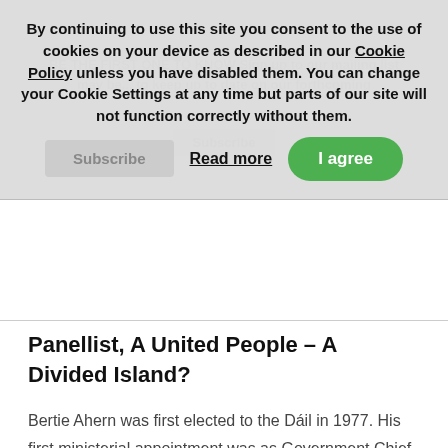By continuing to use this site you consent to the use of cookies on your device as described in our Cookie Policy unless you have disabled them. You can change your Cookie Settings at any time but parts of our site will not function correctly without them.  Read more   I agree
Panellist, A United People – A Divided Island?
Bertie Ahern was first elected to the Dáil in 1977. His first ministerial appointment was as Government Chief Whip and Minister for State at the Department of the Taoiseach and at the Department for Defence in 1982. He was a member of Dublin City Council from 1978 to 1988 and Lord Mayor from 1986 to